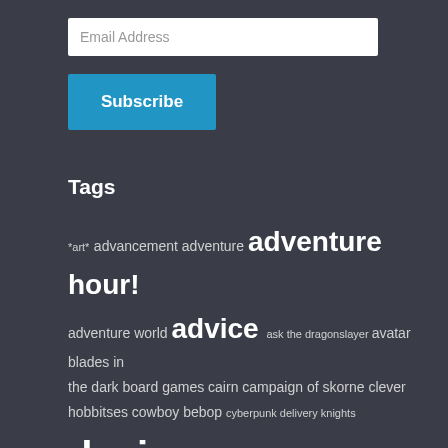[Figure (other): Email address input field (white rectangle with placeholder text 'Email Address')]
[Figure (other): Blue Subscribe button]
Tags
*art* advancement adventure adventure hour! adventure world advice ask the dragonslayer avatar blades in the dark board games cairn campaign of skorne clever hobbitses cowboy bebop cyberpunk delivery knights design diceless dolmenwood dramasystem dread dungeon world electric bastionland focus on the world free kriegsspiel